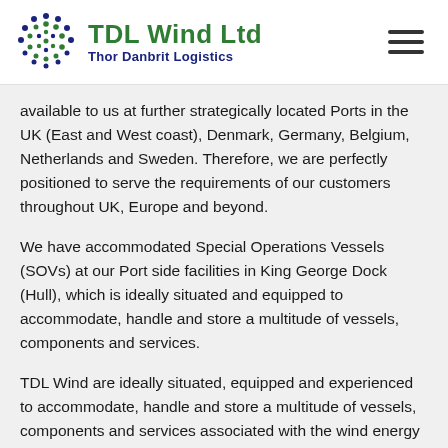[Figure (logo): TDL Wind Ltd logo with circular dot pattern and text 'TDL Wind Ltd / Thor Danbrit Logistics']
available to us at further strategically located Ports in the UK (East and West coast), Denmark, Germany, Belgium, Netherlands and Sweden. Therefore, we are perfectly positioned to serve the requirements of our customers throughout UK, Europe and beyond.
We have accommodated Special Operations Vessels (SOVs) at our Port side facilities in King George Dock (Hull), which is ideally situated and equipped to accommodate, handle and store a multitude of vessels, components and services.
TDL Wind are ideally situated, equipped and experienced to accommodate, handle and store a multitude of vessels, components and services associated with the wind energy sector – from Installation Vessels carrying construction components, turbines and foundations to Service Operations